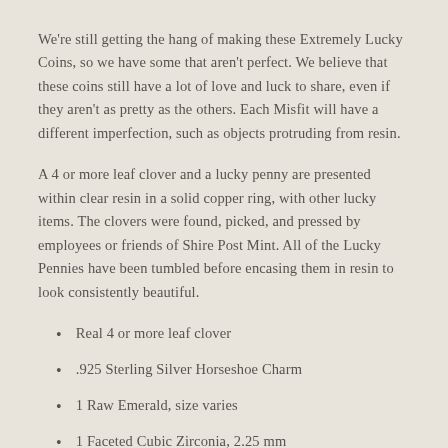We're still getting the hang of making these Extremely Lucky Coins, so we have some that aren't perfect. We believe that these coins still have a lot of love and luck to share, even if they aren't as pretty as the others. Each Misfit will have a different imperfection, such as objects protruding from resin.
A 4 or more leaf clover and a lucky penny are presented within clear resin in a solid copper ring, with other lucky items. The clovers were found, picked, and pressed by employees or friends of Shire Post Mint. All of the Lucky Pennies have been tumbled before encasing them in resin to look consistently beautiful.
Real 4 or more leaf clover
.925 Sterling Silver Horseshoe Charm
1 Raw Emerald, size varies
1 Faceted Cubic Zirconia, 2.25 mm